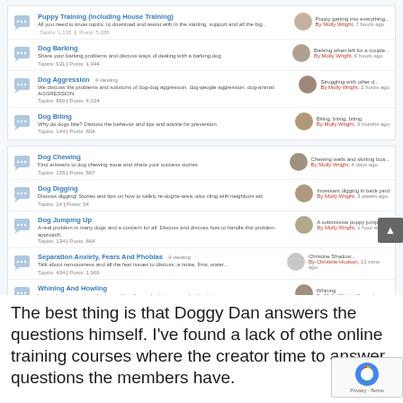[Figure (screenshot): Forum listing screenshot showing dog training topic categories with icons, descriptions, last post info and user avatars. Topics include: Puppy Training (including House Training), Dog Barking, Dog Aggression, Dog Biting, Dog Chewing, Dog Digging, Dog Jumping Up, Separation Anxiety Fears And Phobias, Whining And Howling.]
The best thing is that Doggy Dan answers the questions himself. I've found a lack of other online training courses where the creator time to answer questions the members have.